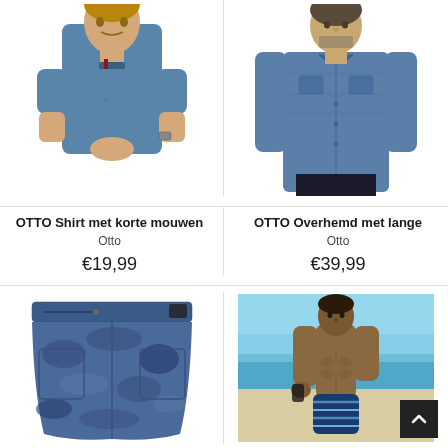[Figure (photo): Man wearing a blue short-sleeved henley shirt]
[Figure (photo): Man wearing a blue long-sleeved denim shirt with dark pants]
OTTO Shirt met korte mouwen
Otto
€19,99
OTTO Overhemd met lange
Otto
€39,99
[Figure (photo): Blue camouflage patterned swim shorts]
[Figure (photo): Man on beach wearing striped swim trunks]